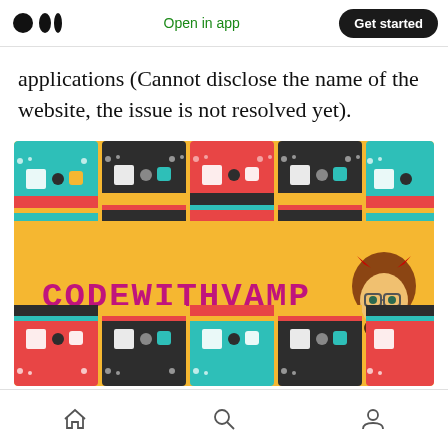Medium app navigation bar with logo, Open in app, Get started
applications (Cannot disclose the name of the website, the issue is not resolved yet).
[Figure (illustration): CodeWithVamp YouTube/social media channel banner featuring colorful retro cassette tapes on a yellow/orange background with the text CODEWITHVAMP in purple pixel-style font and a cartoon avatar of a bearded man with devil horns]
Bottom navigation bar with home, search, and profile icons